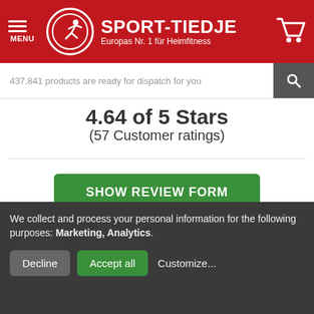SPORT-TIEDJE — Europas Nr. 1 für Heimfitness
437.841 products are ready for dispatch for you
4.64 of 5 Stars
(57 Customer ratings)
SHOW REVIEW FORM
Write a product rating now and win a gift coupon of 500 € or the refund of the paid purchase price. The choice is yours!
We collect and process your personal information for the following purposes: Marketing, Analytics.
Decline  Accept all  Customize...